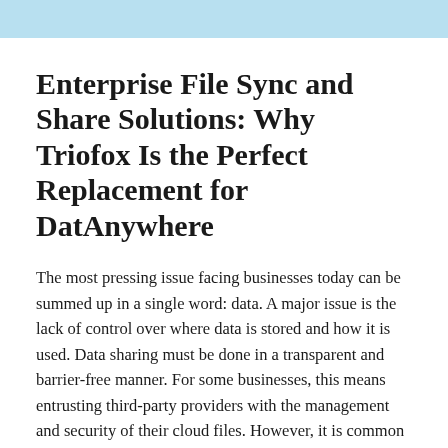Enterprise File Sync and Share Solutions: Why Triofox Is the Perfect Replacement for DatAnywhere
The most pressing issue facing businesses today can be summed up in a single word: data. A major issue is the lack of control over where data is stored and how it is used. Data sharing must be done in a transparent and barrier-free manner. For some businesses, this means entrusting third-party providers with the management and security of their cloud files. However, it is common knowledge that using public cloud services to share company